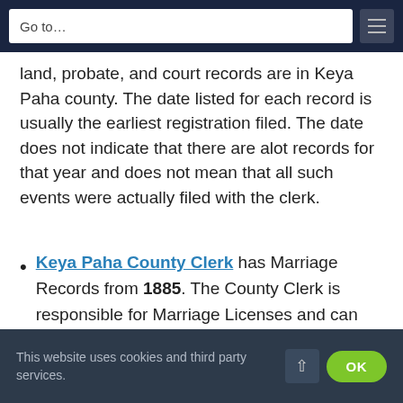Go to...
land, probate, and court records are in Keya Paha county. The date listed for each record is usually the earliest registration filed. The date does not indicate that there are alot records for that year and does not mean that all such events were actually filed with the clerk.
Keya Paha County Clerk has Marriage Records from 1885. The County Clerk is responsible for Marriage Licenses and can also be expected to hold delayed birth registrations. Other records of
This website uses cookies and third party services.